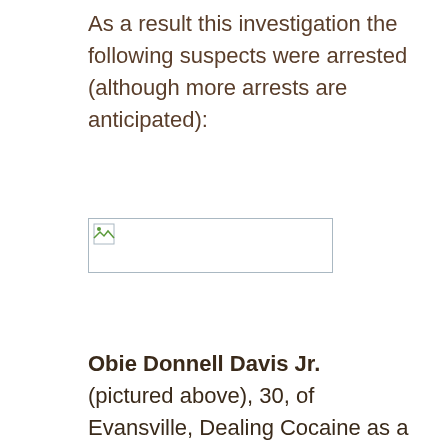As a result this investigation the following suspects were arrested (although more arrests are anticipated):
[Figure (photo): Broken/missing image placeholder with icon, likely a photograph of a suspect]
Obie Donnell Davis Jr. (pictured above), 30, of Evansville, Dealing Cocaine as a